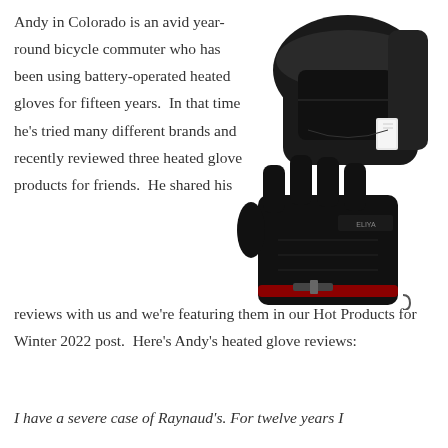Andy in Colorado is an avid year-round bicycle commuter who has been using battery-operated heated gloves for fifteen years.  In that time he's tried many different brands and recently reviewed three heated glove products for friends.  He shared his reviews with us and we're featuring them in our Hot Products for Winter 2022 post.  Here's Andy's heated glove reviews:
[Figure (photo): Two black heated gloves — a mitten-style glove on top and a five-finger glove below, both black, shown overlapping against a white background.]
I have a severe case of Raynaud's. For twelve years I